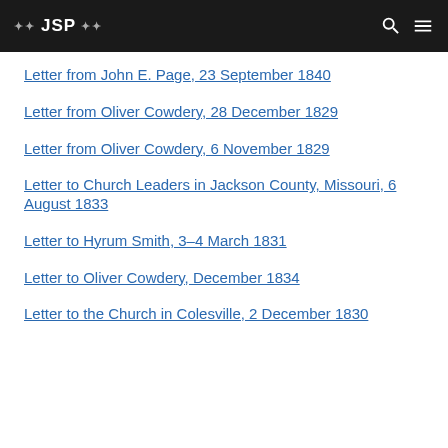JSP
Letter from John E. Page, 23 September 1840
Letter from Oliver Cowdery, 28 December 1829
Letter from Oliver Cowdery, 6 November 1829
Letter to Church Leaders in Jackson County, Missouri, 6 August 1833
Letter to Hyrum Smith, 3–4 March 1831
Letter to Oliver Cowdery, December 1834
Letter to the Church in Colesville, 2 December 1830